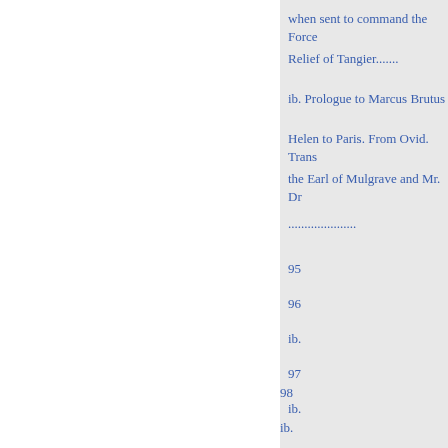when sent to command the Force
Relief of Tangier.......
ib. Prologue to Marcus Brutus
Helen to Paris. From Ovid. Trans
the Earl of Mulgrave and Mr. Dr
.....................
95
96
ib.
97
ib.
98
ib.